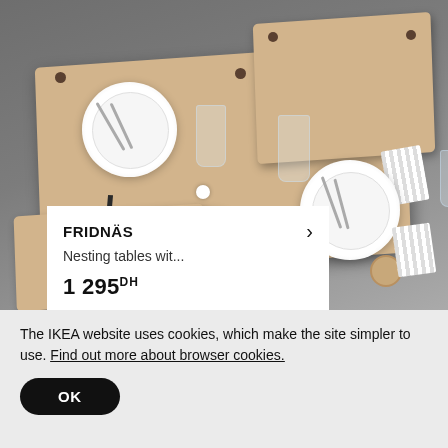[Figure (photo): Aerial view of IKEA FRIDNÄS nesting tables with wooden tabletops, set with white plates, cutlery, and glasses on a dark grey floor. A product tooltip overlay shows the product name, description, and price.]
FRIDNÄS
Nesting tables wit...
1 295 DH
The IKEA website uses cookies, which make the site simpler to use. Find out more about browser cookies.
OK